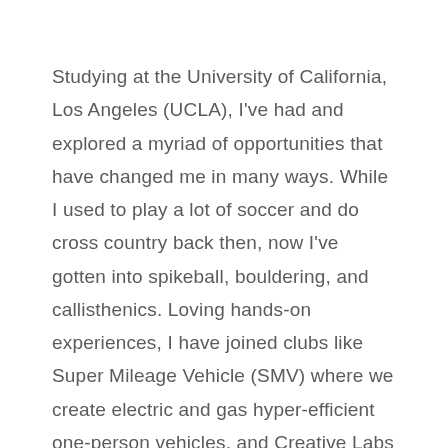Studying at the University of California, Los Angeles (UCLA), I've had and explored a myriad of opportunities that have changed me in many ways. While I used to play a lot of soccer and do cross country back then, now I've gotten into spikeball, bouldering, and callisthenics. Loving hands-on experiences, I have joined clubs like Super Mileage Vehicle (SMV) where we create electric and gas hyper-efficient one-person vehicles, and Creative Labs where we created a virtual piano web app and an IoT flowrate sensor.